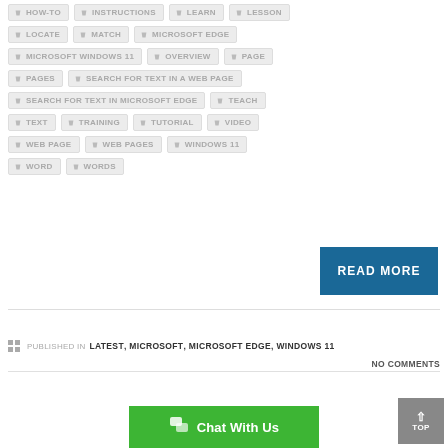HOW-TO
INSTRUCTIONS
LEARN
LESSON
LOCATE
MATCH
MICROSOFT EDGE
MICROSOFT WINDOWS 11
OVERVIEW
PAGE
PAGES
SEARCH FOR TEXT IN A WEB PAGE
SEARCH FOR TEXT IN MICROSOFT EDGE
TEACH
TEXT
TRAINING
TUTORIAL
VIDEO
WEB PAGE
WEB PAGES
WINDOWS 11
WORD
WORDS
READ MORE
PUBLISHED IN LATEST, MICROSOFT, MICROSOFT EDGE, WINDOWS 11
NO COMMENTS
Chat With Us
TOP